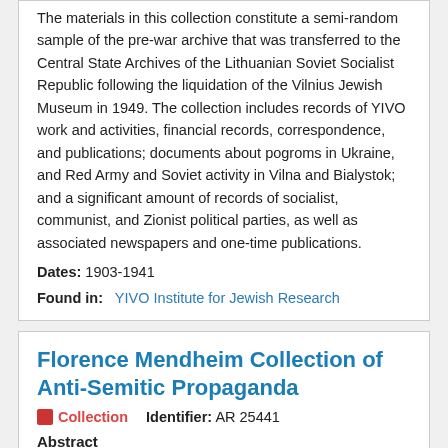The materials in this collection constitute a semi-random sample of the pre-war archive that was transferred to the Central State Archives of the Lithuanian Soviet Socialist Republic following the liquidation of the Vilnius Jewish Museum in 1949. The collection includes records of YIVO work and activities, financial records, correspondence, and publications; documents about pogroms in Ukraine, and Red Army and Soviet activity in Vilna and Bialystok; and a significant amount of records of socialist, communist, and Zionist political parties, as well as associated newspapers and one-time publications.
Dates: 1903-1941
Found in: YIVO Institute for Jewish Research
Florence Mendheim Collection of Anti-Semitic Propaganda
Collection   Identifier: AR 25441
Abstract
This collection of anti-Semitic material...